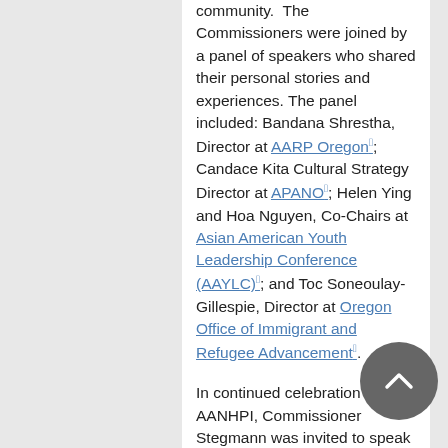community.  The Commissioners were joined by a panel of speakers who shared their personal stories and experiences. The panel included: Bandana Shrestha, Director at AARP Oregon; Candace Kita Cultural Strategy Director at APANO; Helen Ying and Hoa Nguyen, Co-Chairs at Asian American Youth Leadership Conference (AAYLC); and Toc Soneoulay-Gillespie, Director at Oregon Office of Immigrant and Refugee Advancement.
In continued celebration of AANHPI, Commissioner Stegmann was invited to speak May 14 at Oregon Rises Above Hate. She joined AANHPI community leaders and members